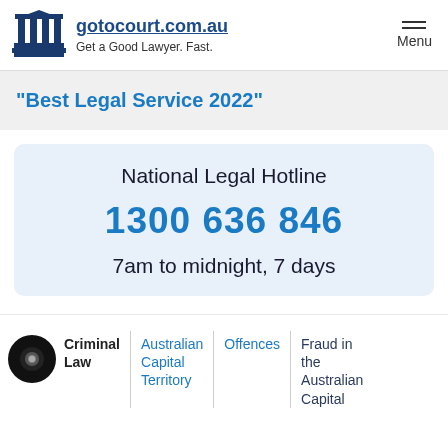gotocourt.com.au | Get a Good Lawyer. Fast. | Menu
"Best Legal Service 2022"
National Legal Hotline
1300 636 846
7am to midnight, 7 days
Criminal Law | Australian Capital Territory | Offences | Fraud in the Australian Capital